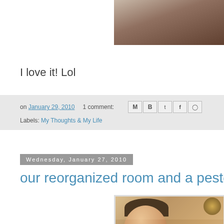[Figure (photo): Partial photo visible at top right, appears to show a person's hands/body]
I love it! Lol
on January 29, 2010   1 comment:
Labels: My Thoughts & My Life
Wednesday, January 27, 2010
our reorganized room and a pesto dinne
[Figure (photo): Photo of a young smiling child with dark hair, holding or near a dark round brush object, appears to be at a table]